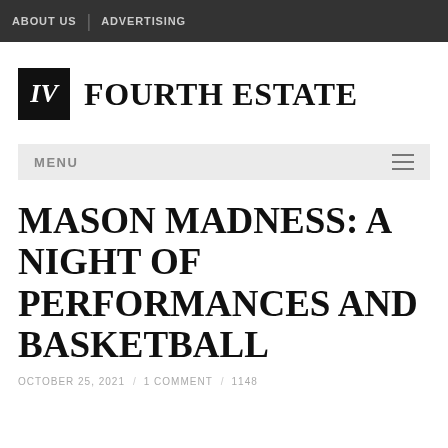ABOUT US | ADVERTISING
[Figure (logo): IV Fourth Estate logo with black box containing 'IV' and bold serif text 'FOURTH ESTATE']
MENU
MASON MADNESS: A NIGHT OF PERFORMANCES AND BASKETBALL
OCTOBER 25, 2021  /  1 COMMENT  /  1148